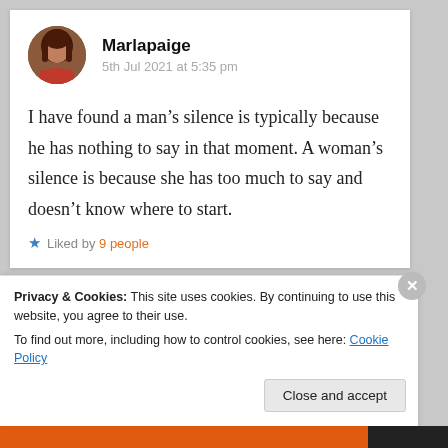Marlapaige
5th Jul 2021 at 5:35 pm
I have found a man’s silence is typically because he has nothing to say in that moment. A woman’s silence is because she has too much to say and doesn’t know where to start.
Liked by 9 people
Privacy & Cookies: This site uses cookies. By continuing to use this website, you agree to their use.
To find out more, including how to control cookies, see here: Cookie Policy
Close and accept